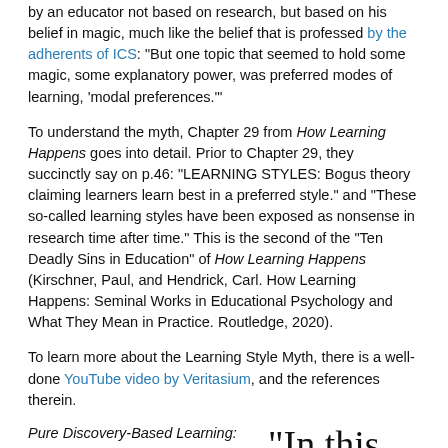by an educator not based on research, but based on his belief in magic, much like the belief that is professed by the adherents of ICS: "But one topic that seemed to hold some magic, some explanatory power, was preferred modes of learning, 'modal preferences.'"
To understand the myth, Chapter 29 from How Learning Happens goes into detail. Prior to Chapter 29, they succinctly say on p.46: "LEARNING STYLES: Bogus theory claiming learners learn best in a preferred style." and "These so-called learning styles have been exposed as nonsense in research time after time." This is the second of the "Ten Deadly Sins in Education" of How Learning Happens (Kirschner, Paul, and Hendrick, Carl. How Learning Happens: Seminal Works in Educational Psychology and What They Mean in Practice. Routledge, 2020).
To learn more about the Learning Style Myth, there is a well-done YouTube video by Veritasium, and the references therein.
Pure Discovery-Based Learning: Again, ICS promotes that "The curriculum is based on learning styles, and
“In this model, the school